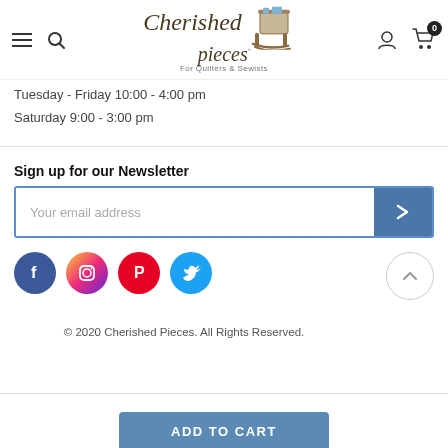Cherished Pieces — For Quilters & Sewists
Tuesday - Friday 10:00 - 4:00 pm
Saturday 9:00 - 3:00 pm
Sign up for our Newsletter
Your email address
[Figure (infographic): Social media icons: Facebook, Instagram, Pinterest, Twitter]
© 2020 Cherished Pieces. All Rights Reserved.
ADD TO CART